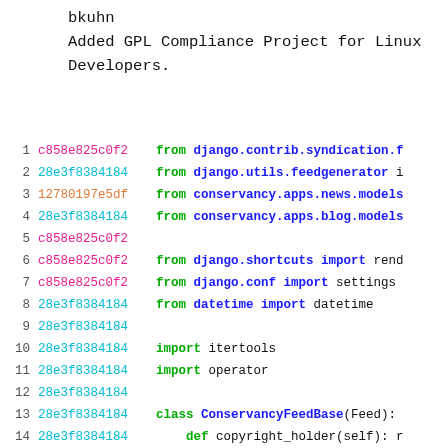bkuhn
Added GPL Compliance Project for Linux Developers.
Code listing showing git blame output with line numbers, commit hashes, and Python source code for a Django feed view.